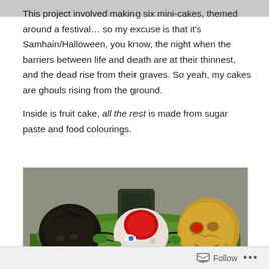This project involved making six mini-cakes, themed around a festival… so my excuse is that it's Samhain/Halloween, you know, the night when the barriers between life and death are at their thinnest, and the dead rise from their graves. So yeah, my cakes are ghouls rising from the ground.
Inside is fruit cake, all the rest is made from sugar paste and food colourings.
[Figure (photo): Photo of Halloween-themed mini-cakes on a green plate: a dark ghoul head on the left, a white/red zombie head in the center, a yellow skull head on the right, with a dark gravestone in the background, set on a green sugar paste base.]
Follow …